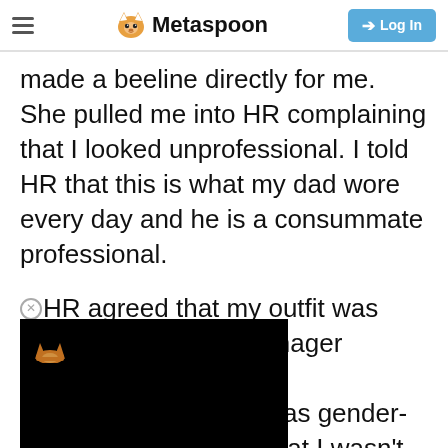Metaspoon | Log In
made a beeline directly for me. She pulled me into HR complaining that I looked unprofessional. I told HR that this is what my dad wore every day and he is a consummate professional.

HR agreed that my outfit was acceptable but the manager wouldn't code was gender- gued that I wasn't an. I ended up just
[Figure (screenshot): Black overlay block in lower left corner with a small fox/cat icon in orange on black background, partially covering text]